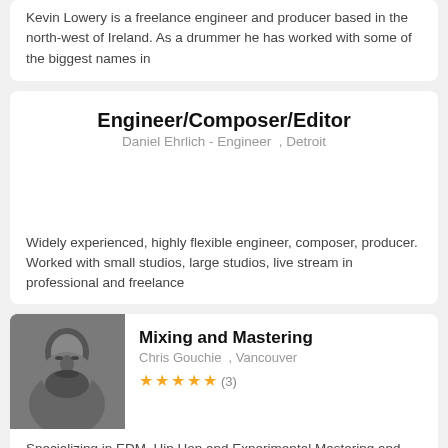Kevin Lowery is a freelance engineer and producer based in the north-west of Ireland. As a drummer he has worked with some of the biggest names in
Engineer/Composer/Editor
Daniel Ehrlich - Engineer , Detroit
Widely experienced, highly flexible engineer, composer, producer. Worked with small studios, large studios, live stream in professional and freelance
[Figure (photo): Black and white portrait photo of Chris Gouchie]
Mixing and Mastering
Chris Gouchie , Vancouver
★★★★★ (3)
Specializing in EDM, Hip Hop and Experimental Mastering and Mixing. Musician of 11+ years.
Audio Production Specialist
Tim King , Los Angeles